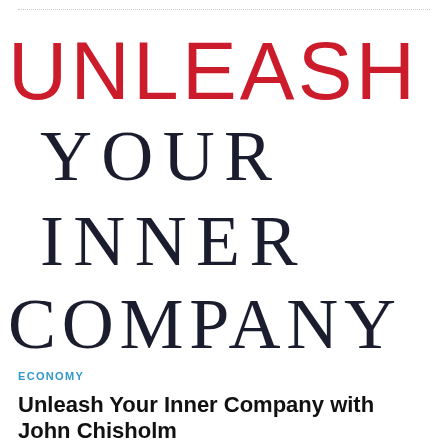[Figure (illustration): Book cover image showing the title 'Unleash Your Inner Company' in large display type. 'UNLEASH' in red, 'YOUR', 'INNER', and 'COMPANY' in dark navy serif letters, partially cropped on both sides.]
ECONOMY
Unleash Your Inner Company with John Chisholm